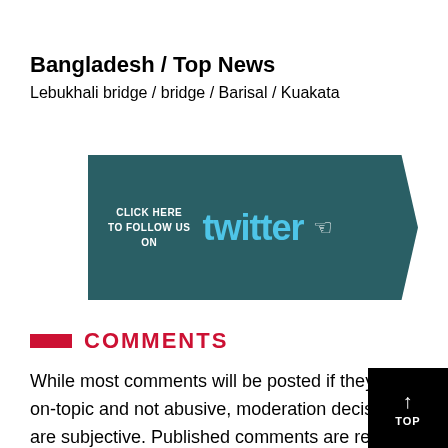Bangladesh / Top News
Lebukhali bridge / bridge / Barisal / Kuakata
[Figure (other): Twitter follow banner with teal background, text 'CLICK HERE TO FOLLOW US ON' and Twitter logo in cyan, with cursor icon]
COMMENTS
While most comments will be posted if they are on-topic and not abusive, moderation decisions are subjective. Published comments are readers' own views and The Business Standard does not endorse any of the readers' comments.